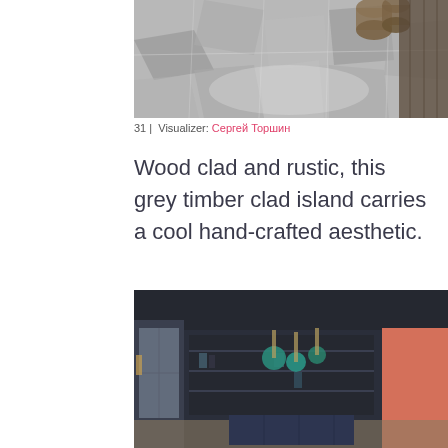[Figure (photo): Interior design photo showing a grey stone tile floor with irregular shapes and wooden/wicker cylindrical objects in the background]
31 |  Visualizer: Сергей Торшин
Wood clad and rustic, this grey timber clad island carries a cool hand-crafted aesthetic.
[Figure (photo): Interior design photo of a dark navy blue kitchen with teal pendant lights, open shelving, a kitchen island, and a salmon/terracotta colored wall panel]